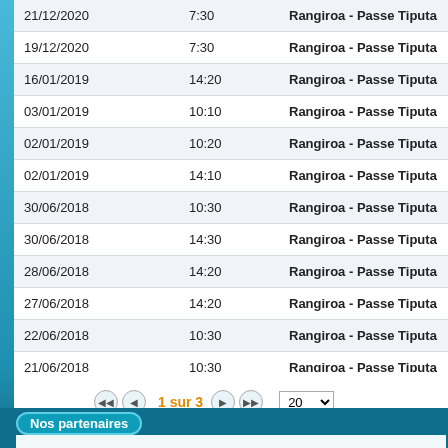| Date | Heure | Lieu |
| --- | --- | --- |
| 21/12/2020 | 7:30 | Rangiroa - Passe Tiputa |
| 19/12/2020 | 7:30 | Rangiroa - Passe Tiputa |
| 16/01/2019 | 14:20 | Rangiroa - Passe Tiputa |
| 03/01/2019 | 10:10 | Rangiroa - Passe Tiputa |
| 02/01/2019 | 10:20 | Rangiroa - Passe Tiputa |
| 02/01/2019 | 14:10 | Rangiroa - Passe Tiputa |
| 30/06/2018 | 10:30 | Rangiroa - Passe Tiputa |
| 30/06/2018 | 14:30 | Rangiroa - Passe Tiputa |
| 28/06/2018 | 14:20 | Rangiroa - Passe Tiputa |
| 27/06/2018 | 14:20 | Rangiroa - Passe Tiputa |
| 22/06/2018 | 10:30 | Rangiroa - Passe Tiputa |
| 21/06/2018 | 10:30 | Rangiroa - Passe Tiputa |
| 20/06/2018 | 10:30 | Rangiroa - Passe Tiputa |
1 sur 3
← Re
Nos partenaires